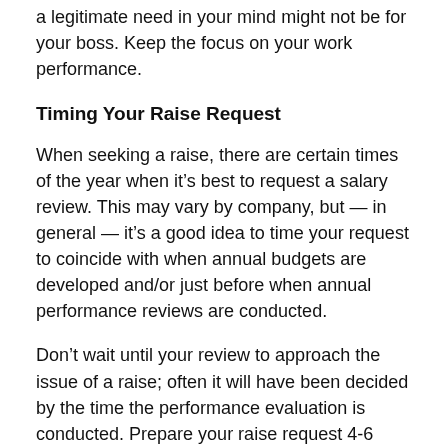a legitimate need in your mind might not be for your boss. Keep the focus on your work performance.
Timing Your Raise Request
When seeking a raise, there are certain times of the year when it’s best to request a salary review. This may vary by company, but — in general — it’s a good idea to time your request to coincide with when annual budgets are developed and/or just before when annual performance reviews are conducted.
Don’t wait until your review to approach the issue of a raise; often it will have been decided by the time the performance evaluation is conducted. Prepare your raise request 4-6 weeks before the